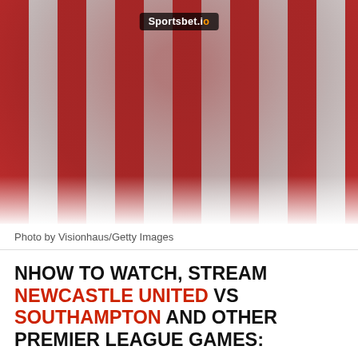[Figure (photo): Soccer player in red and white striped jersey with Sportsbet.io sponsor logo, running on pitch]
Photo by Visionhaus/Getty Images
NHOW TO WATCH, STREAM NEWCASTLE UNITED VS SOUTHAMPTON AND OTHER PREMIER LEAGUE GAMES:
Date/time: 28/8/2021, 15:00 (UK), 10:00 ET, 07:00 PT (USA)